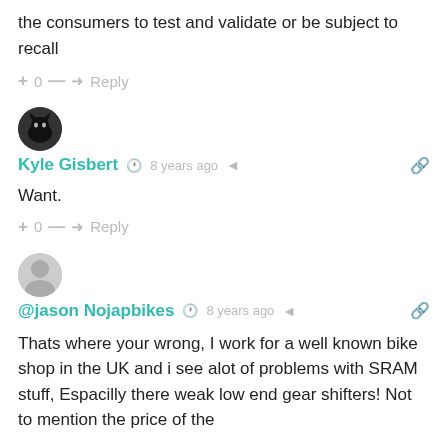the consumers to test and validate or be subject to recall
+ 0 — → Reply
[Figure (photo): Round avatar of Kyle Gisbert, black cat photo]
Kyle Gisbert  🕐 8 years ago  < 🔗
Want.
+ 0 — → Reply
[Figure (photo): Round gray default avatar for @jason Nojapbikes]
@jason Nojapbikes  🕐 8 years ago  < 🔗
Thats where your wrong, I work for a well known bike shop in the UK and i see alot of problems with SRAM stuff, Espacilly there weak low end gear shifters! Not to mention the price of the